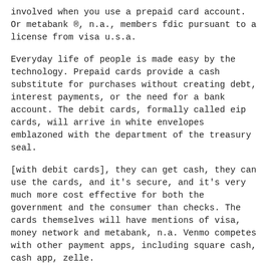involved when you use a prepaid card account. Or metabank ®, n.a., members fdic pursuant to a license from visa u.s.a.
Everyday life of people is made easy by the technology. Prepaid cards provide a cash substitute for purchases without creating debt, interest payments, or the need for a bank account. The debit cards, formally called eip cards, will arrive in white envelopes emblazoned with the department of the treasury seal.
[with debit cards], they can get cash, they can use the cards, and it's secure, and it's very much more cost effective for both the government and the consumer than checks. The cards themselves will have mentions of visa, money network and metabank, n.a. Venmo competes with other payment apps, including square cash, cash app, zelle.
Card use is subject to activation and id verification. Determining and curing terminal diseases made convenient, reaching uncharted territories became a possibility, and most of all; Discover ® and the discover acceptance mark are trademarks used by metabank.